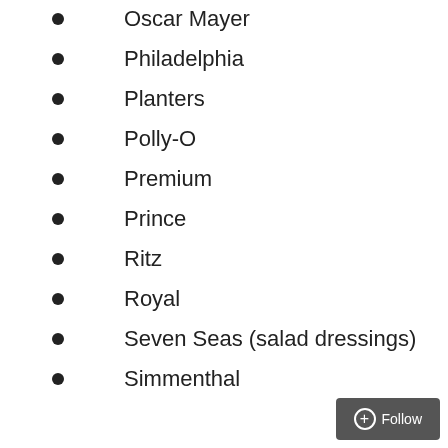Oscar Mayer
Philadelphia
Planters
Polly-O
Premium
Prince
Ritz
Royal
Seven Seas (salad dressings)
Simmenthal